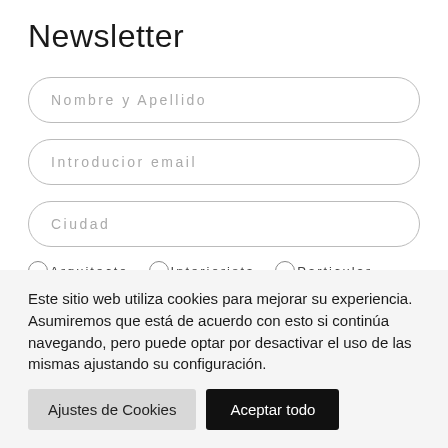Newsletter
Nombre y Apellido
Introducior email
Ciudad
Arquitecto   Interiorista   Particular
Este sitio web utiliza cookies para mejorar su experiencia. Asumiremos que está de acuerdo con esto si continúa navegando, pero puede optar por desactivar el uso de las mismas ajustando su configuración.
Ajustes de Cookies
Aceptar todo